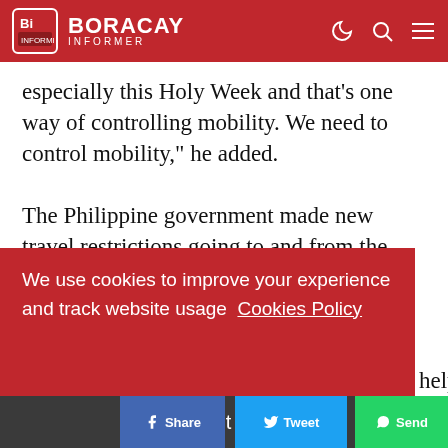Boracay Informer
especially this Holy Week and that's one way of controlling mobility. We need to control mobility," he added.
The Philippine government made new travel restrictions going to and from the bubble of Metro Manila, Laguna, Cavite, Rizal, and Bulacan over the weekend.
We use cookies to improve your experience and track website usage Cookies Policy
Got it